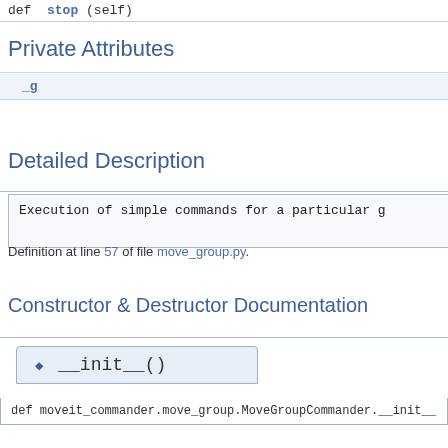def stop (self)
Private Attributes
|  |
| --- |
| _g |
Detailed Description
Execution of simple commands for a particular g
Definition at line 57 of file move_group.py.
Constructor & Destructor Documentation
◆ __init__()
def moveit_commander.move_group.MoveGroupCommander.__init__